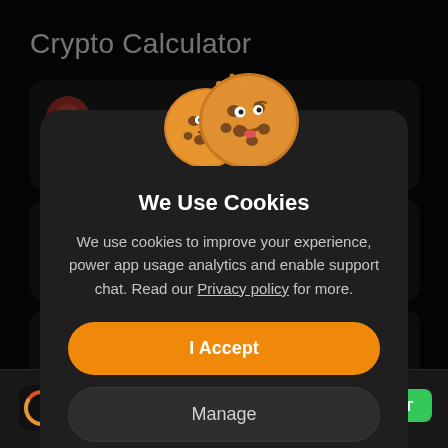Crypto Calculator
[Figure (screenshot): Cookie consent modal dialog over a dark crypto calculator app background. Two cartoon cookie emojis appear at the top of the modal. Title: 'We Use Cookies'. Body text explains cookie usage with a Privacy policy underlined link. An orange 'I Accept' button and a dark 'Manage' button appear below. Bottom bar shows app icon, review count (935K), and green GET button.]
We Use Cookies
We use cookies to improve your experience, power app usage analytics and enable support chat. Read our Privacy policy for more.
I Accept
Manage
(935K)
GET